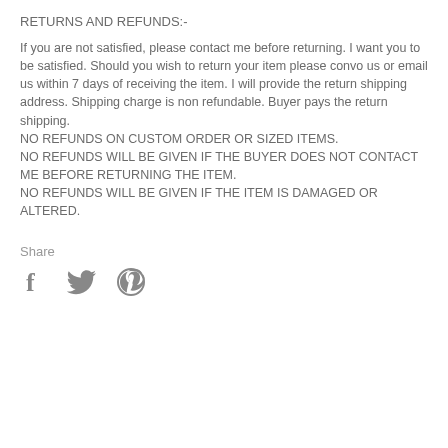RETURNS AND REFUNDS:-
If you are not satisfied, please contact me before returning. I want you to be satisfied. Should you wish to return your item please convo us or email us within 7 days of receiving the item. I will provide the return shipping address. Shipping charge is non refundable. Buyer pays the return shipping.
NO REFUNDS ON CUSTOM ORDER OR SIZED ITEMS.
NO REFUNDS WILL BE GIVEN IF THE BUYER DOES NOT CONTACT ME BEFORE RETURNING THE ITEM.
NO REFUNDS WILL BE GIVEN IF THE ITEM IS DAMAGED OR ALTERED.
Share
[Figure (infographic): Social media share icons: Facebook (f), Twitter (bird), Pinterest (p)]